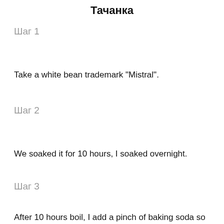Тачанка
Шаг 1
Take a white bean trademark "Mistral".
Шаг 2
We soaked it for 10 hours, I soaked overnight.
Шаг 3
After 10 hours boil, I add a pinch of baking soda so